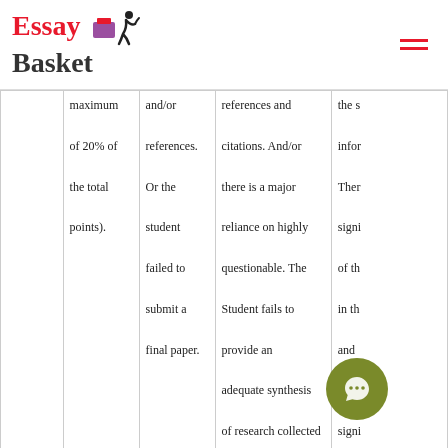Essay Basket
|  | Col2 | Col3 | Col4 | Col5 |
| --- | --- | --- | --- | --- |
| maximum of 20% of the total points). | and/or references. Or the student failed to submit a final paper. | references and citations. And/or there is a major reliance on highly questionable. The Student fails to provide an adequate synthesis of research collected for the paper. | the s infor There signi of th in th and And, signi high ques sour |